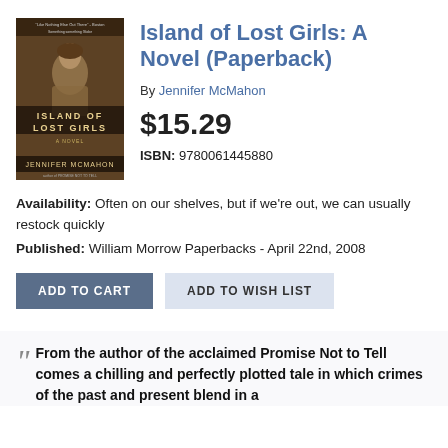[Figure (illustration): Book cover of 'Island of Lost Girls' by Jennifer McMahon — sepia-toned image of a young girl, with title and author name visible]
Island of Lost Girls: A Novel (Paperback)
By Jennifer McMahon
$15.29
ISBN: 9780061445880
Availability: Often on our shelves, but if we're out, we can usually restock quickly
Published: William Morrow Paperbacks - April 22nd, 2008
ADD TO CART
ADD TO WISH LIST
From the author of the acclaimed Promise Not to Tell comes a chilling and perfectly plotted tale in which crimes of the past and present blend in a